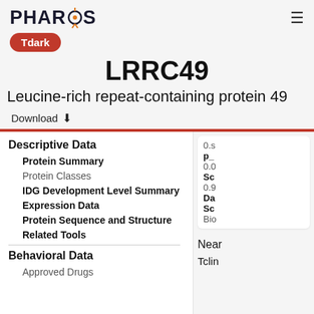PHAROS
LRRC49
Leucine-rich repeat-containing protein 49
Download
Descriptive Data
Protein Summary
Protein Classes
IDG Development Level Summary
Expression Data
Protein Sequence and Structure
Related Tools
Behavioral Data
Approved Drugs
0.
p_
0.0
Sc
0.9
Da
Sc
Bio
Near
Tclin